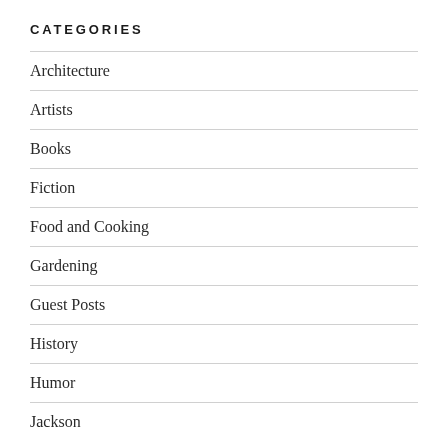CATEGORIES
Architecture
Artists
Books
Fiction
Food and Cooking
Gardening
Guest Posts
History
Humor
Jackson